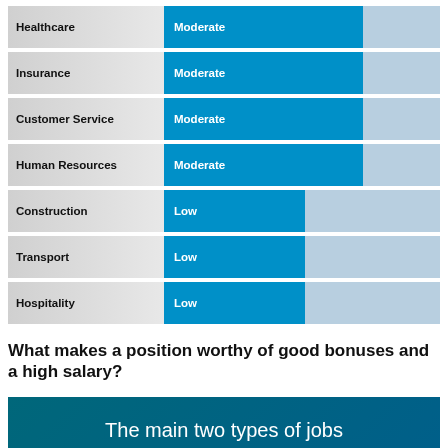[Figure (bar-chart): Industry salary bonus levels]
What makes a position worthy of good bonuses and a high salary?
The main two types of jobs